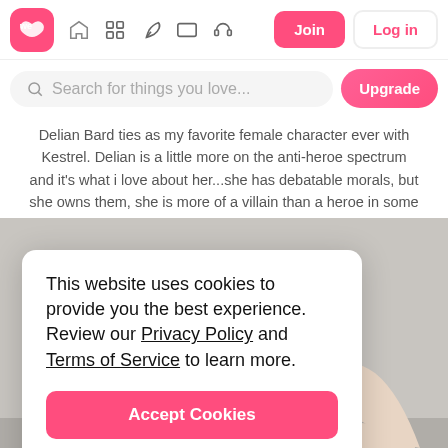[Figure (screenshot): We Heart It website navigation bar with logo, icons, Join button, Log in button]
[Figure (screenshot): Search bar with placeholder 'Search for things you love...' and Upgrade button]
Delian Bard ties as my favorite female character ever with Kestrel. Delian is a little more on the anti-heroe spectrum and it's what i love about her...she has debatable morals, but she owns them, she is more of a villain than a heroe in some aspects, especially if you compare her to Kell, but her character it's written in a way that is charming and just...idk, i love her and her adventurous spirit.
[Figure (photo): Two hands reaching toward each other - one with black glove and one bare hand with dark nails, against gray background]
This website uses cookies to provide you the best experience. Review our Privacy Policy and Terms of Service to learn more.

Accept Cookies

Only users 16 years or older may use We Heart It.